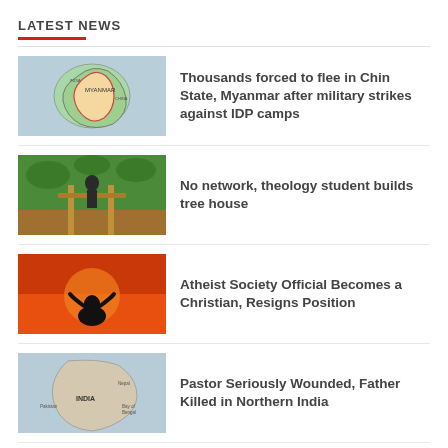LATEST NEWS
Thousands forced to flee in Chin State, Myanmar after military strikes against IDP camps
No network, theology student builds tree house
Atheist Society Official Becomes a Christian, Resigns Position
Pastor Seriously Wounded, Father Killed in Northern India
Wycliffe associates produces record